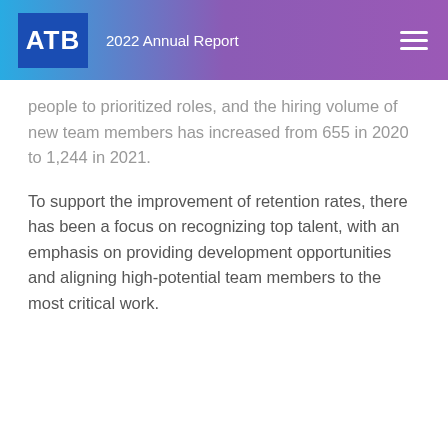ATB 2022 Annual Report
people to prioritized roles, and the hiring volume of new team members has increased from 655 in 2020 to 1,244 in 2021.
To support the improvement of retention rates, there has been a focus on recognizing top talent, with an emphasis on providing development opportunities and aligning high-potential team members to the most critical work.